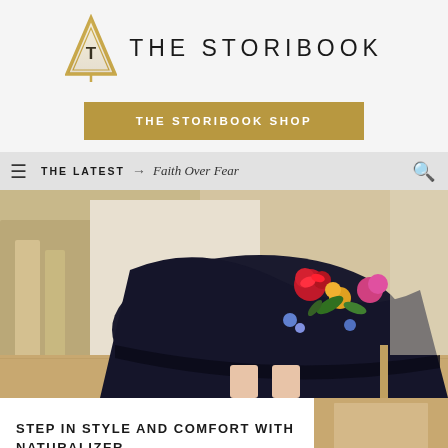[Figure (logo): The Storibook logo: gold/yellow downward-pointing triangle with letter T, next to text 'THE STORIBOOK' in bold uppercase]
[Figure (illustration): Golden/dark gold rectangular button reading 'THE STORIBOOK SHOP' in white uppercase letters]
THE LATEST → Faith Over Fear
[Figure (photo): Fashion photo showing a black floral embroidered skirt/dress with colorful flowers (red, pink, yellow, blue) being twirled, indoor setting with couch visible in background]
STEP IN STYLE AND COMFORT WITH NATURALIZER
[Figure (photo): Partial photo of a blonde person, top of head visible, cropped at bottom of page]